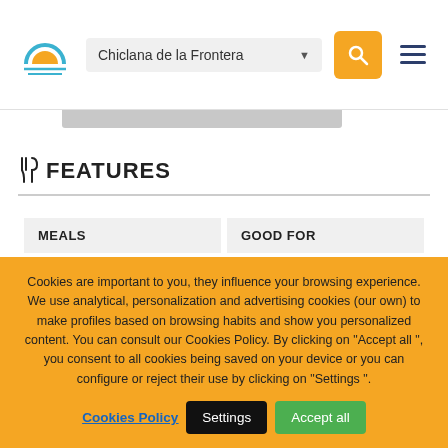Chiclana de la Frontera
FEATURES
| MEALS | GOOD FOR |
| --- | --- |
Cookies are important to you, they influence your browsing experience. We use analytical, personalization and advertising cookies (our own) to make profiles based on browsing habits and show you personalized content. You can consult our Cookies Policy. By clicking on "Accept all ", you consent to all cookies being saved on your device or you can configure or reject their use by clicking on "Settings ".
Cookies Policy | Settings | Accept all